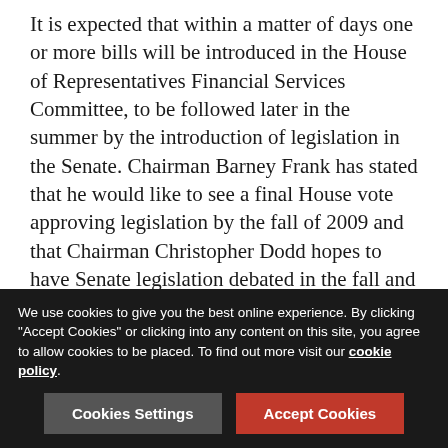It is expected that within a matter of days one or more bills will be introduced in the House of Representatives Financial Services Committee, to be followed later in the summer by the introduction of legislation in the Senate. Chairman Barney Frank has stated that he would like to see a final House vote approving legislation by the fall of 2009 and that Chairman Christopher Dodd hopes to have Senate legislation debated in the fall and enacted by the end of the year. It is believed that such timing would be acceptable to the Obama Administration, but competing priorities for comprehensive health care reform, Supreme Court confirmation hearings and a major energy bill may delay financial services reform, particularly if the current economic environment continues to improve. In addition, on June 18, Secretary Geithner testified before House and Senate committees and was quizzed by legislators on many aspects of the Administration Plan.
We use cookies to give you the best online experience. By clicking "Accept Cookies" or clicking into any content on this site, you agree to allow cookies to be placed. To find out more visit our cookie policy.